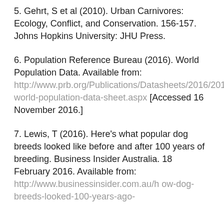5. Gehrt, S et al (2010). Urban Carnivores: Ecology, Conflict, and Conservation. 156-157. Johns Hopkins University: JHU Press.
6. Population Reference Bureau (2016). World Population Data. Available from: http://www.prb.org/Publications/Datasheets/2016/2016-world-population-data-sheet.aspx [Accessed 16 November 2016.]
7. Lewis, T (2016). Here's what popular dog breeds looked like before and after 100 years of breeding. Business Insider Australia. 18 February 2016. Available from: http://www.businessinsider.com.au/how-dog-breeds-looked-100-years-ago-